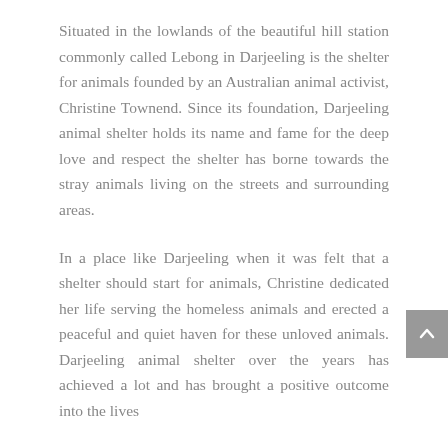Situated in the lowlands of the beautiful hill station commonly called Lebong in Darjeeling is the shelter for animals founded by an Australian animal activist, Christine Townend. Since its foundation, Darjeeling animal shelter holds its name and fame for the deep love and respect the shelter has borne towards the stray animals living on the streets and surrounding areas.
In a place like Darjeeling when it was felt that a shelter should start for animals, Christine dedicated her life serving the homeless animals and erected a peaceful and quiet haven for these unloved animals. Darjeeling animal shelter over the years has achieved a lot and has brought a positive outcome into the lives